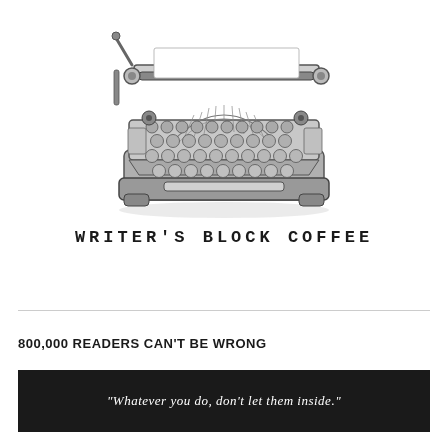[Figure (illustration): Detailed black and white engraving-style illustration of a vintage typewriter, viewed from a three-quarter angle, showing keys, carriage, and mechanical parts.]
WRITER'S BLOCK COFFEE
800,000 READERS CAN'T BE WRONG
“Whatever you do, don’t let them inside.”